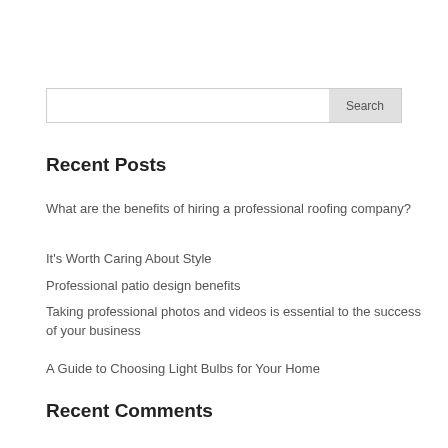Search
Recent Posts
What are the benefits of hiring a professional roofing company?
It’s Worth Caring About Style
Professional patio design benefits
Taking professional photos and videos is essential to the success of your business
A Guide to Choosing Light Bulbs for Your Home
Recent Comments